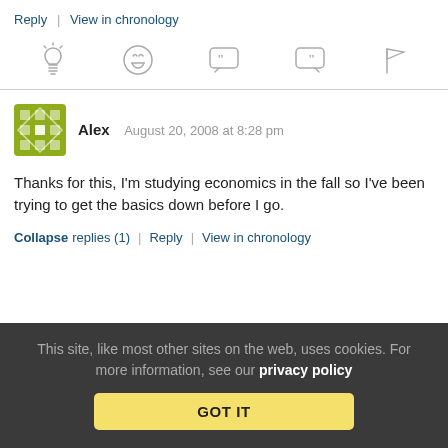Reply | View in chronology
[Figure (other): Row of 5 icon buttons: lightbulb, laugh emoji, open-quote speech bubble, close-quote speech bubble, flag]
Alex   August 20, 2008 at 8:28 pm
Thanks for this, I'm studying economics in the fall so I've been trying to get the basics down before I go.
Collapse replies (1) | Reply | View in chronology
This site, like most other sites on the web, uses cookies. For more information, see our privacy policy  GOT IT